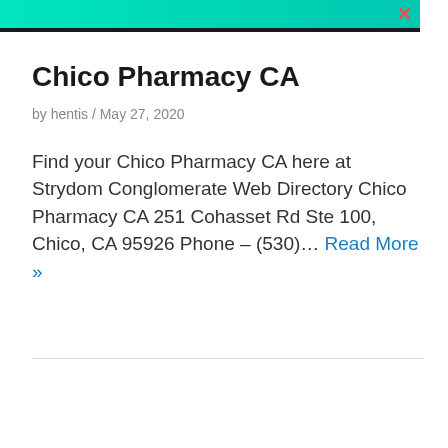Chico Pharmacy CA
by hentis / May 27, 2020
Find your Chico Pharmacy CA here at Strydom Conglomerate Web Directory Chico Pharmacy CA 251 Cohasset Rd Ste 100, Chico, CA 95926 Phone – (530)… Read More »